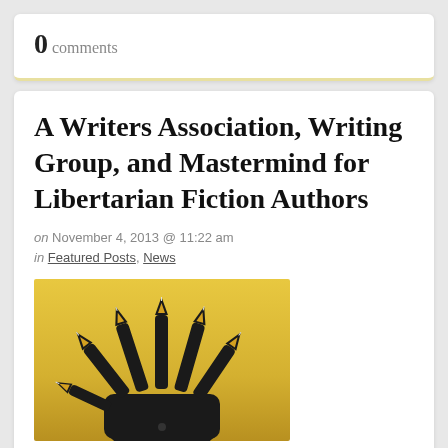0 comments
A Writers Association, Writing Group, and Mastermind for Libertarian Fiction Authors
on November 4, 2013 @ 11:22 am
in Featured Posts, News
[Figure (illustration): A black silhouette of a hand on a yellow/gold gradient background, with pen nibs replacing the fingertips of each finger.]